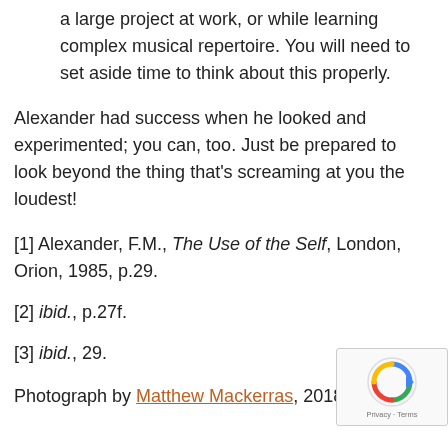a large project at work, or while learning complex musical repertoire. You will need to set aside time to think about this properly.
Alexander had success when he looked and experimented; you can, too. Just be prepared to look beyond the thing that's screaming at you the loudest!
[1] Alexander, F.M., The Use of the Self, London, Orion, 1985, p.29.
[2] ibid., p.27f.
[3] ibid., 29.
Photograph by Matthew Mackerras, 2018.